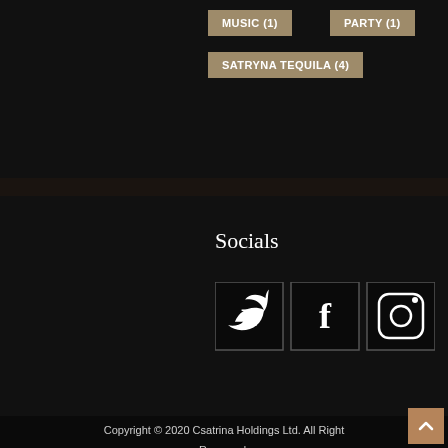MUSIC (1)
PARTY (1)
SATRYNA TEQUILA (4)
Socials
[Figure (infographic): Social media icon buttons: Twitter (bird icon), Facebook (f icon), Instagram (camera icon), each in a square outlined box]
Copyright © 2020 Csatrina Holdings Ltd. All Right Reserved.